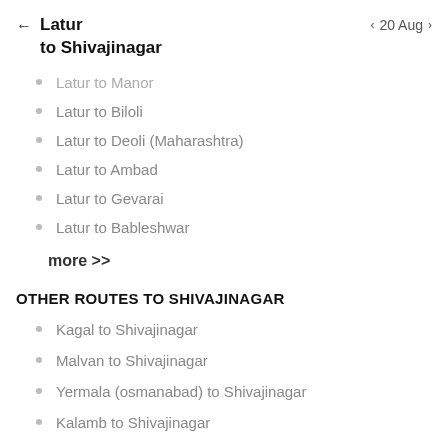Latur to Shivajinagar  20 Aug
Latur to Manor
Latur to Biloli
Latur to Deoli (Maharashtra)
Latur to Ambad
Latur to Gevarai
Latur to Bableshwar
more >>
OTHER ROUTES TO SHIVAJINAGAR
Kagal to Shivajinagar
Malvan to Shivajinagar
Yermala (osmanabad) to Shivajinagar
Kalamb to Shivajinagar